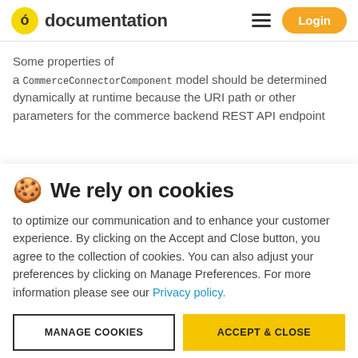documentation | Login
Some properties of a CommerceConnectorComponent model should be determined dynamically at runtime because the URI path or other parameters for the commerce backend REST API endpoint
🍪 We rely on cookies
to optimize our communication and to enhance your customer experience. By clicking on the Accept and Close button, you agree to the collection of cookies. You can also adjust your preferences by clicking on Manage Preferences. For more information please see our Privacy policy.
MANAGE COOKIES | ACCEPT & CLOSE